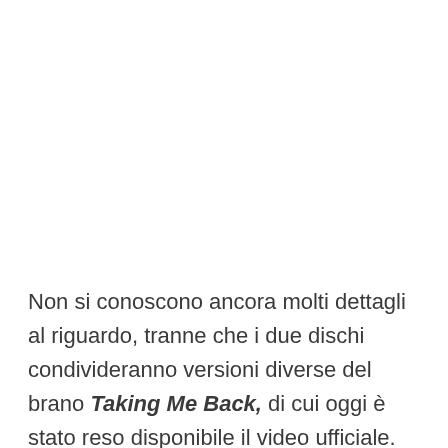Non si conoscono ancora molti dettagli al riguardo, tranne che i due dischi condivideranno versioni diverse del brano Taking Me Back, di cui oggi è stato reso disponibile il video ufficiale.